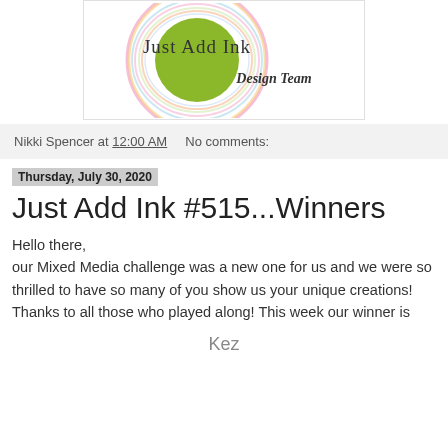[Figure (logo): Just Add Ink Design Team logo with colorful circular swirls and a green circle in the center]
Nikki Spencer at 12:00 AM   No comments:
Thursday, July 30, 2020
Just Add Ink #515...Winners
Hello there,
our Mixed Media challenge was a new one for us and we were so thrilled to have so many of you show us your unique creations!  Thanks to all those who played along! This week our winner is
Kez